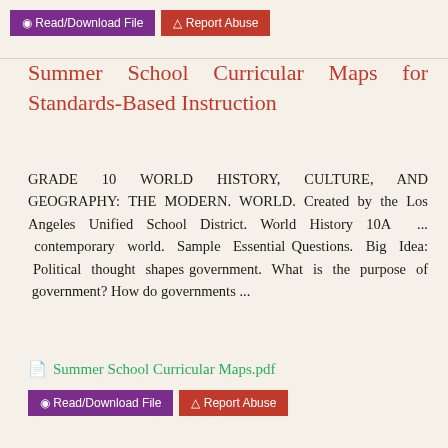Read/Download File | Report Abuse
Summer School Curricular Maps for Standards-Based Instruction
GRADE 10 WORLD HISTORY, CULTURE, AND GEOGRAPHY: THE MODERN. WORLD. Created by the Los Angeles Unified School District. World History 10A ... contemporary world. Sample Essential Questions. Big Idea: Political thought shapes government. What is the purpose of government? How do governments ...
Summer School Curricular Maps.pdf
Read/Download File | Report Abuse